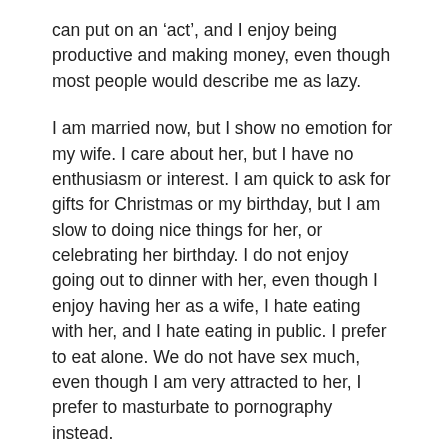can put on an 'act', and I enjoy being productive and making money, even though most people would describe me as lazy.
I am married now, but I show no emotion for my wife. I care about her, but I have no enthusiasm or interest. I am quick to ask for gifts for Christmas or my birthday, but I am slow to doing nice things for her, or celebrating her birthday. I do not enjoy going out to dinner with her, even though I enjoy having her as a wife, I hate eating with her, and I hate eating in public. I prefer to eat alone. We do not have sex much, even though I am very attracted to her, I prefer to masturbate to pornography instead.
I can explore my sexual fantasies more appropriately that way and not feel ashamed of my desires, and how